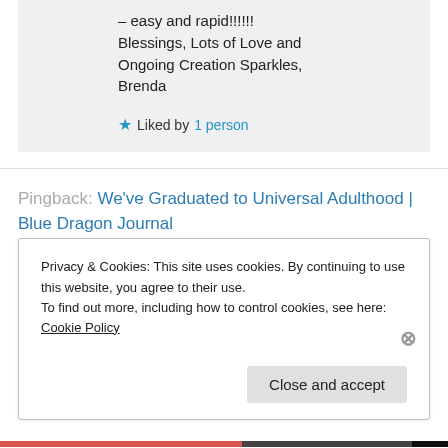– easy and rapid!!!!!!
Blessings, Lots of Love and Ongoing Creation Sparkles,
Brenda
★ Liked by 1 person
Pingback: We've Graduated to Universal Adulthood | Blue Dragon Journal
Privacy & Cookies: This site uses cookies. By continuing to use this website, you agree to their use.
To find out more, including how to control cookies, see here: Cookie Policy
Close and accept